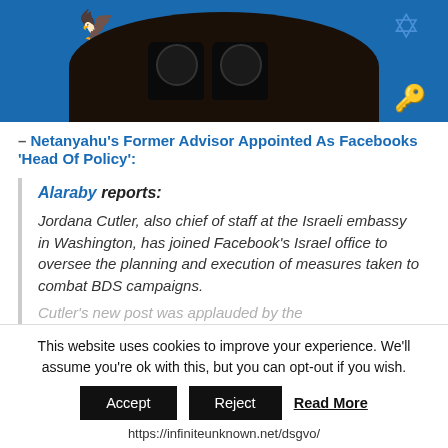[Figure (photo): A person holding binoculars up to their face against a blue background, with decorative elements including an eagle and star symbol visible at the edges.]
– Netanyahu's Former Advisor Appointed As Facebooks 'Head Of Policy':
Alaraby reports: Jordana Cutler, also chief of staff at the Israeli embassy in Washington, has joined Facebook's Israel office to oversee the planning and execution of measures taken to combat BDS campaigns.
Cutler's new post was applauded by the
This website uses cookies to improve your experience. We'll assume you're ok with this, but you can opt-out if you wish.
Accept   Reject   Read More
https://infiniteunknown.net/dsgvo/